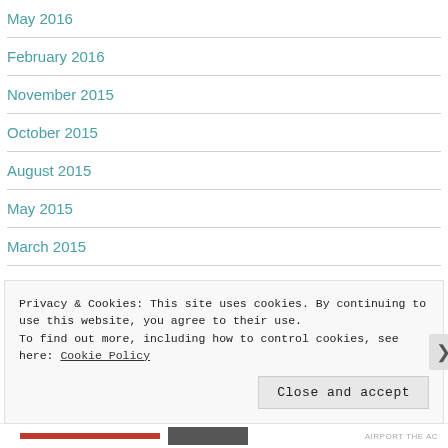May 2016
February 2016
November 2015
October 2015
August 2015
May 2015
March 2015
Privacy & Cookies: This site uses cookies. By continuing to use this website, you agree to their use.
To find out more, including how to control cookies, see here: Cookie Policy
Close and accept